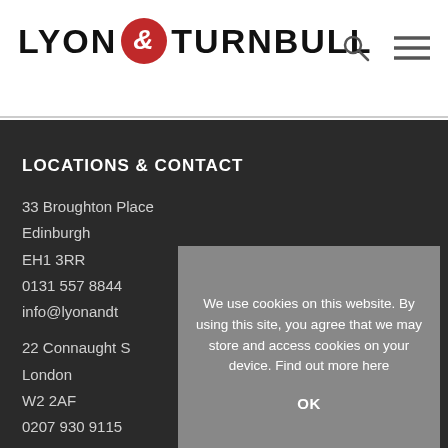LYON & TURNBULL
LOCATIONS & CONTACT
33 Broughton Place
Edinburgh
EH1 3RR
0131 557 8844
info@lyonandt
22 Connaught S
London
W2 2AF
0207 930 9115
We use cookies on this website. By using this site, you agree that we may store and access cookies on your device. Find out more here
OK